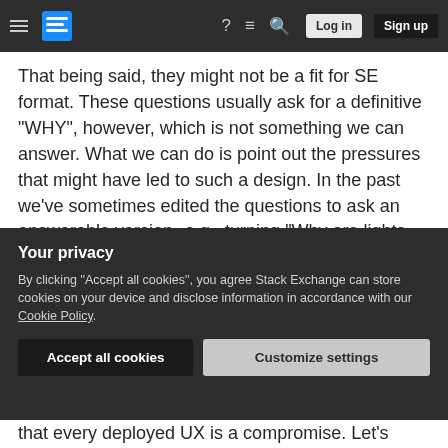Stack Exchange navigation bar with hamburger menu, logo, help, chat, search icons, Log in and Sign up buttons
That being said, they might not be a fit for SE format. These questions usually ask for a definitive "WHY", however, which is not something we can answer. What we can do is point out the pressures that might have led to such a design. In the past we've sometimes edited the questions to ask an answerable version--e.g., turning "Why are lights red?" into "What impact results from lights being red?" or "What factors should I consider when designing a light to be red?" (though that last one
Your privacy
By clicking "Accept all cookies", you agree Stack Exchange can store cookies on your device and disclose information in accordance with our Cookie Policy.
Accept all cookies
Customize settings
that every deployed UX is a compromise. Let's